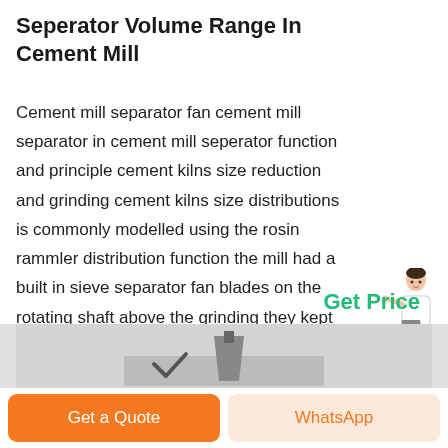Seperator Volume Range In Cement Mill
Cement mill separator fan cement mill separator in cement mill seperator function and principle cement kilns size reduction and grinding cement kilns size distributions is commonly modelled using the rosin rammler distribution function the mill had a built in sieve separator fan blades on the rotating shaft above the grinding they kept and
Get Price
[Figure (photo): Partial image of cement mill equipment visible at bottom of page]
Get a Quote
WhatsApp